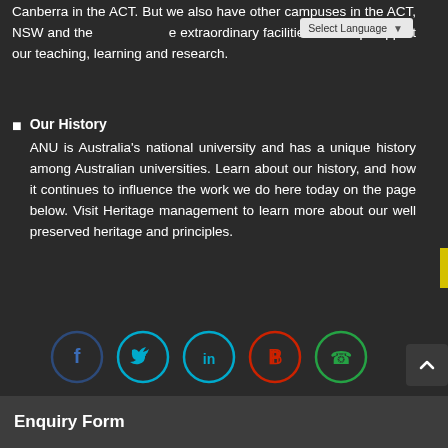Canberra in the ACT. But we also have other campuses in the ACT, NSW and the NT that houses some extraordinary facilities that help support our teaching, learning and research.
Our History
ANU is Australia's national university and has a unique history among Australian universities. Learn about our history, and how it continues to influence the work we do here today on the page below. Visit Heritage management to learn more about our well preserved heritage and principles.
[Figure (infographic): Row of five social media icon circles: Facebook (dark blue), Twitter (cyan), LinkedIn (cyan), Pinterest (red), WhatsApp (green)]
[Figure (other): Scroll-to-top button with upward chevron arrow]
Enquiry Form